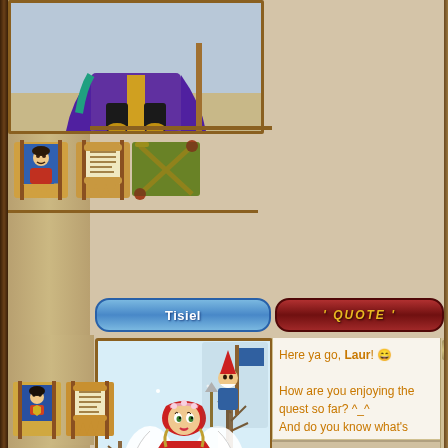[Figure (screenshot): Forum/game website screenshot showing a user profile sidebar with character avatars, username buttons, and a message thread with a pug photo]
Tisiel
' QUOTE '
Here ya go, Laur! 😄

How are you enjoying the quest so far? ^_^
And do you know what's happened to Zinn? He
[Figure (photo): Sepia-toned photo of pugs sitting on sandy ground, with watermark text 'Gifak.net']